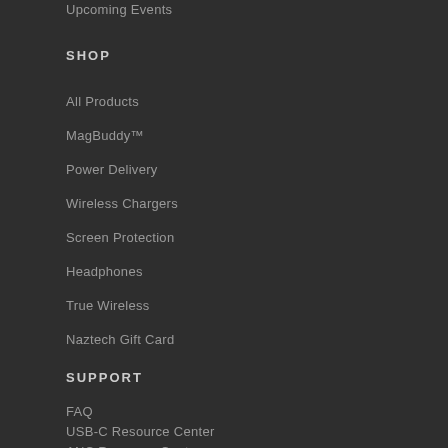Upcoming Events
SHOP
All Products
MagBuddy™
Power Delivery
Wireless Chargers
Screen Protection
Headphones
True Wireless
Naztech Gift Card
SUPPORT
FAQ
USB-C Resource Center
ANC Resource Center